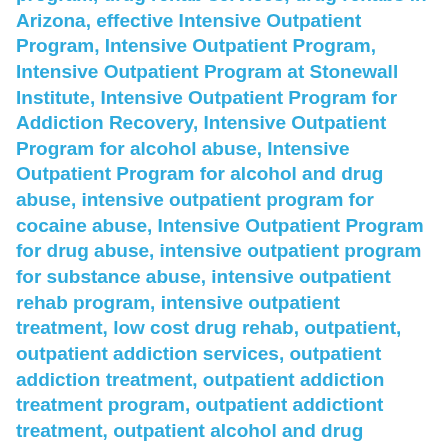program, drug rehab services, drug rehabs in Arizona, effective Intensive Outpatient Program, Intensive Outpatient Program, Intensive Outpatient Program at Stonewall Institute, Intensive Outpatient Program for Addiction Recovery, Intensive Outpatient Program for alcohol abuse, Intensive Outpatient Program for alcohol and drug abuse, intensive outpatient program for cocaine abuse, Intensive Outpatient Program for drug abuse, intensive outpatient program for substance abuse, intensive outpatient rehab program, intensive outpatient treatment, low cost drug rehab, outpatient, outpatient addiction services, outpatient addiction treatment, outpatient addiction treatment program, outpatient addictiont treatment, outpatient alcohol and drug counseling program, outpatient alcohol and drug treatment program, outpatient alcohol counseling program, outpatient alcohol treatment, outpatient alcohol treatment program, outpatient alcohol treatment program at Stonewall Institute, outpatient based treatment, outpatient clinic for substance abuse, outpatient clinic tempe, outpatient drug & alcohol treatment program, outpatient drug and alcohol counseling program, outpatient drug and alcohol treatment program, outpatient drug counseling program, outpatient drug programs, outpatient drug treatment, outpatient drug treatment program, outpatient program, outpatient program for drug